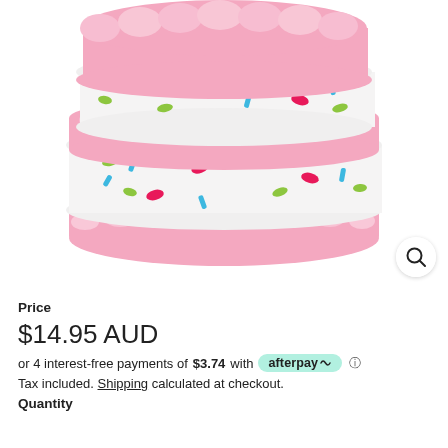[Figure (photo): Pink plush toy shaped like a slice of cake or sandwich cookie with white cream filling decorated with colorful sprinkles (pink, blue, green). Pink fluffy texture on top and bottom layers.]
Price
$14.95 AUD
or 4 interest-free payments of $3.74 with afterpay ℹ
Tax included. Shipping calculated at checkout.
Quantity